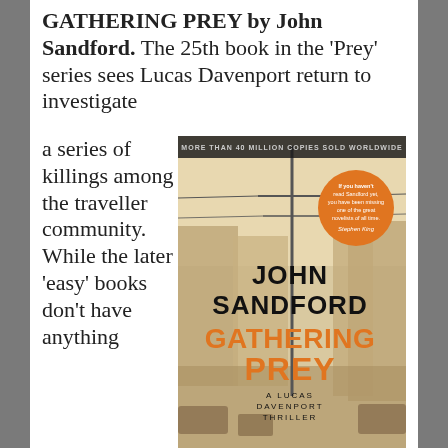GATHERING PREY by John Sandford. The 25th book in the 'Prey' series sees Lucas Davenport return to investigate a series of killings among the traveller community. While the later 'easy' books don't have anything...
[Figure (illustration): Book cover of 'Gathering Prey' by John Sandford. Features the author name 'JOHN SANDFORD' in black bold text, 'GATHERING PREY' in large orange bold text, 'A LUCAS DAVENPORT THRILLER' below, and a sepia-toned street scene with power lines. An orange circle badge with a Stephen King quote reads: 'If you haven't read Sandford yet, you have been missing one of the great novelists of all time - Stephen King'. Top banner: 'MORE THAN 40 MILLION COPIES SOLD WORLDWIDE'.]